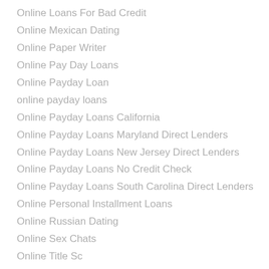Online Loans For Bad Credit
Online Mexican Dating
Online Paper Writer
Online Pay Day Loans
Online Payday Loan
online payday loans
Online Payday Loans California
Online Payday Loans Maryland Direct Lenders
Online Payday Loans New Jersey Direct Lenders
Online Payday Loans No Credit Check
Online Payday Loans South Carolina Direct Lenders
Online Personal Installment Loans
Online Russian Dating
Online Sex Chats
Online Title Sc
Online Ukrainian Dating
open relationship dating sites
Open Source Website Builder